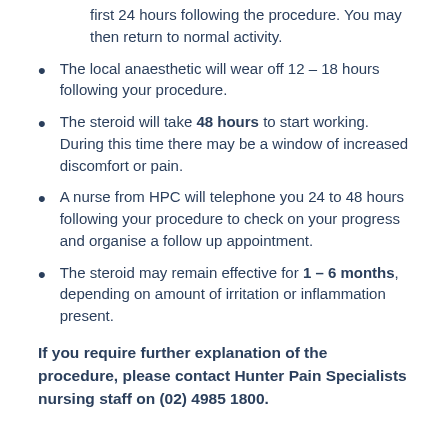Gentle activity and rest is recommended in the first 24 hours following the procedure. You may then return to normal activity.
The local anaesthetic will wear off 12 – 18 hours following your procedure.
The steroid will take 48 hours to start working. During this time there may be a window of increased discomfort or pain.
A nurse from HPC will telephone you 24 to 48 hours following your procedure to check on your progress and organise a follow up appointment.
The steroid may remain effective for 1 – 6 months, depending on amount of irritation or inflammation present.
If you require further explanation of the procedure, please contact Hunter Pain Specialists nursing staff on (02) 4985 1800.